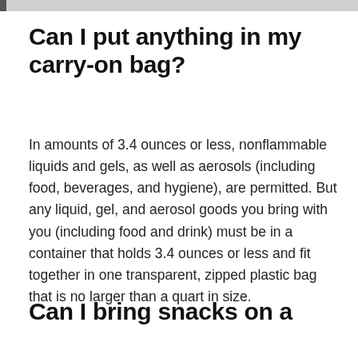Can I put anything in my carry-on bag?
In amounts of 3.4 ounces or less, nonflammable liquids and gels, as well as aerosols (including food, beverages, and hygiene), are permitted. But any liquid, gel, and aerosol goods you bring with you (including food and drink) must be in a container that holds 3.4 ounces or less and fit together in one transparent, zipped plastic bag that is no larger than a quart in size.
Can I bring snacks on a